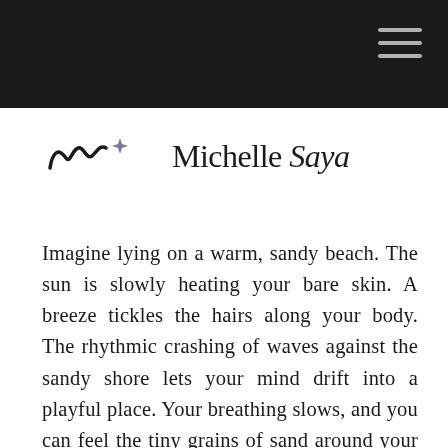[Navigation bar with hamburger menu]
[Figure (logo): Michelle Saya logo with stylized 'm' wave mark and small sparkle/diamond symbol, followed by text 'Michelle Saya' in serif font with italic 'Saya']
Imagine lying on a warm, sandy beach. The sun is slowly heating your bare skin. A breeze tickles the hairs along your body. The rhythmic crashing of waves against the sandy shore lets your mind drift into a playful place. Your breathing slows, and you can feel the tiny grains of sand around your feet. A pulsing of energy radiates along your skin. You become aware of every tendril of heat wrapping around